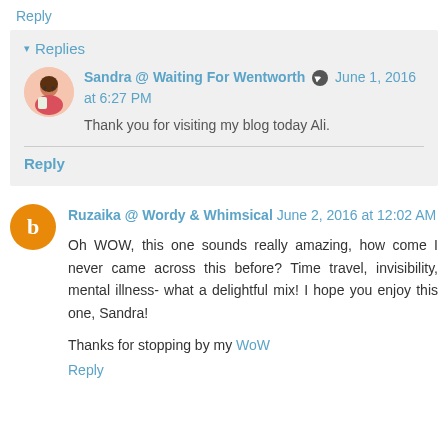Reply
▾ Replies
Sandra @ Waiting For Wentworth  June 1, 2016 at 6:27 PM
Thank you for visiting my blog today Ali.
Reply
Ruzaika @ Wordy & Whimsical  June 2, 2016 at 12:02 AM
Oh WOW, this one sounds really amazing, how come I never came across this before? Time travel, invisibility, mental illness- what a delightful mix! I hope you enjoy this one, Sandra!
Thanks for stopping by my WoW
Reply